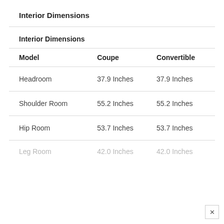Interior Dimensions
Interior Dimensions
| Model | Coupe | Convertible |
| --- | --- | --- |
| Headroom | 37.9 Inches | 37.9 Inches |
| Shoulder Room | 55.2 Inches | 55.2 Inches |
| Hip Room | 53.7 Inches | 53.7 Inches |
| Leg Room | 42.0 Inches | 42.0 Inches |